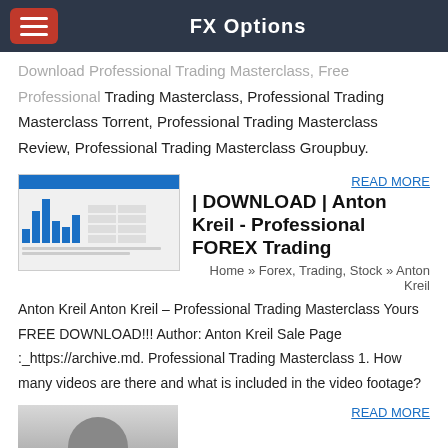FX Options
Trading Masterclass, Professional Trading Masterclass Torrent, Professional Trading Masterclass Review, Professional Trading Masterclass Groupbuy.
READ MORE
| DOWNLOAD | Anton Kreil - Professional FOREX Trading
Home » Forex, Trading, Stock » Anton Kreil Anton Kreil – Professional Trading Masterclass Yours FREE DOWNLOAD!!! Author: Anton Kreil Sale Page :_https://archive.md. Professional Trading Masterclass 1. How many videos are there and what is included in the video footage?
READ MORE
Anton Kreil – Professional